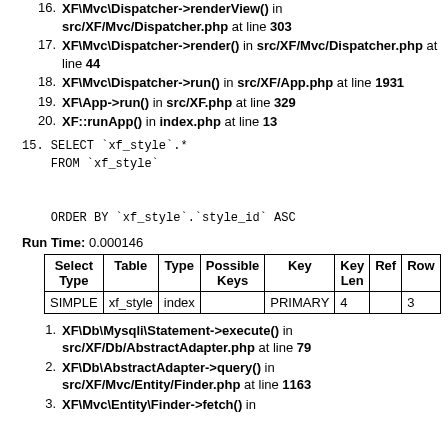16. XF\Mvc\Dispatcher->renderView() in src/XF/Mvc/Dispatcher.php at line 303
17. XF\Mvc\Dispatcher->render() in src/XF/Mvc/Dispatcher.php at line 44
18. XF\Mvc\Dispatcher->run() in src/XF/App.php at line 1931
19. XF\App->run() in src/XF.php at line 329
20. XF::runApp() in index.php at line 13
15. SELECT `xf_style`.* FROM `xf_style` ORDER BY `xf_style`.`style_id` ASC
Run Time: 0.000146
| Select Type | Table | Type | Possible Keys | Key | Key Len | Ref | Row |
| --- | --- | --- | --- | --- | --- | --- | --- |
| SIMPLE | xf_style | index |  | PRIMARY | 4 |  | 3 |
1. XF\Db\Mysqli\Statement->execute() in src/XF/Db/AbstractAdapter.php at line 79
2. XF\Db\AbstractAdapter->query() in src/XF/Mvc/Entity/Finder.php at line 1163
3. XF\Mvc\Entity\Finder->fetch() in